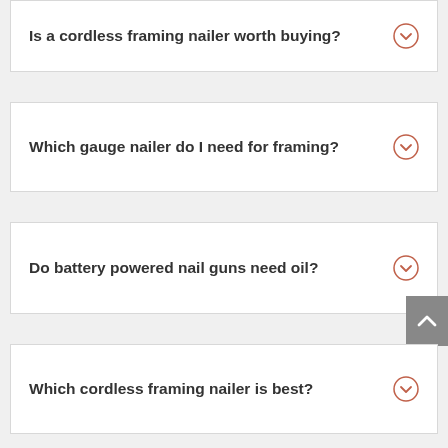Is a cordless framing nailer worth buying?
Which gauge nailer do I need for framing?
Do battery powered nail guns need oil?
Which cordless framing nailer is best?
What's the difference between a framing nailer & finish nailer?